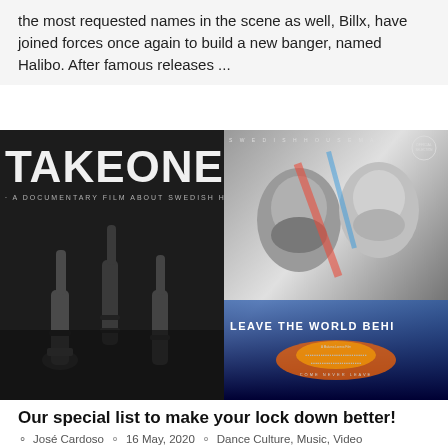the most requested names in the scene as well, Billx, have joined forces once again to build a new banger, named Halibo. After famous releases ...
[Figure (photo): Two movie posters side by side: Left - 'TAKE ONE: A Documentary Film About Swedish House Mafia', black and white image with hands pointing up. Right - Swedish House Mafia 'Leave The World Behind' documentary poster with faces in black and white.]
Our special list to make your lock down better!
José Cardoso  16 May, 2020  Dance Culture, Music, Video